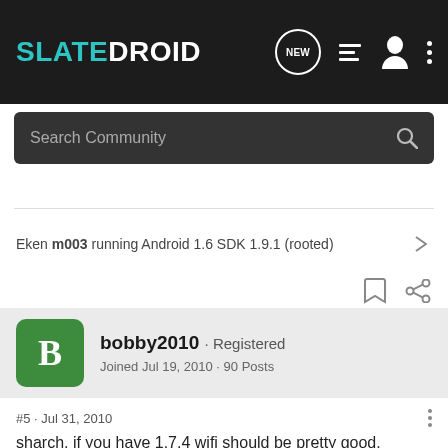SLATEDROID
Search Community
Eken m003 running Android 1.6 SDK 1.9.1 (rooted)
bobby2010 · Registered
Joined Jul 19, 2010 · 90 Posts
#5 · Jul 31, 2010
sharch, if you have 1.7.4 wifi should be pretty good.